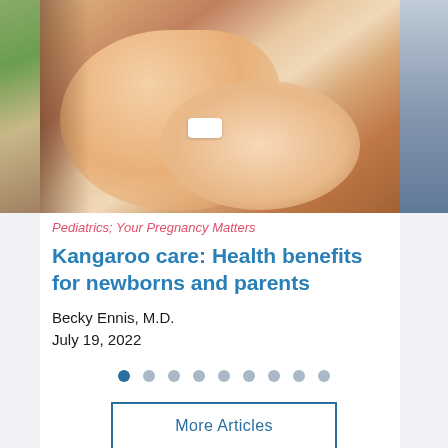[Figure (photo): Close-up photo of a newborn baby skin-to-skin with parent, showing kangaroo care with a white hospital wristband visible]
Pediatrics; Your Pregnancy Matters
Kangaroo care: Health benefits for newborns and parents
Becky Ennis, M.D.
July 19, 2022
[Figure (photo): Partial view of another article card on the right side showing a photo and partial text: 'Pe...' category, 'Ho... / as... / sy...' title, 'Tar...' author, 'July...' date]
More Articles